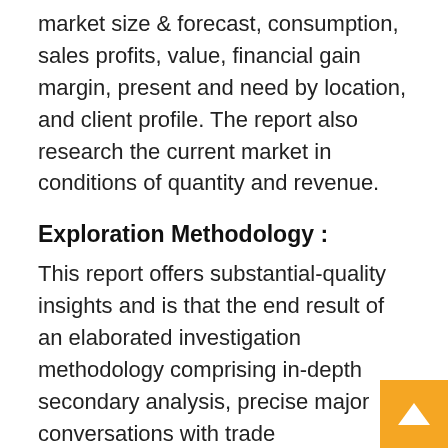market size & forecast, consumption, sales profits, value, financial gain margin, present and need by location, and client profile. The report also research the current market in conditions of quantity and revenue.
Exploration Methodology :
This report offers substantial-quality insights and is that the end result of an elaborated investigation methodology comprising in-depth secondary analysis, precise major conversations with trade stakeholders, and validation and triangulation with Streetview Research’s internal info and used math tools. We have identified All important parts like long run trends, sector motorists, income channels, distributors, and SWOT analysis and long term advancement plans similarly as categorization in